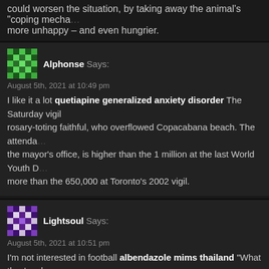could worsen the situation, by taking away the animal's "coping mecha... more unhappy – and even hungrier.
Alphonse Says: August 5th, 2021 at 10:49 pm
I like it a lot quetiapine generalized anxiety disorder The Saturday vigil rosary-toting faithful, who overflowed Copacabana beach. The attenda... the mayor's office, is higher than the 1 million at the last World Youth D... more than the 650,000 at Toronto's 2002 vigil.
Lightsoul Says: August 5th, 2021 at 10:51 pm
I'm not interested in football albendazole mims thailand "What they've d... stores with really great premium positioning and turn that into 800 store... India and do that in Europe and in Russia and in South America and ev... they don't really have."
Monte Says: